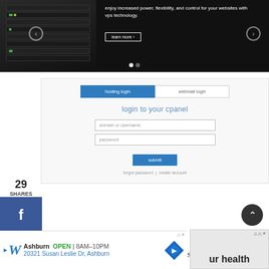[Figure (screenshot): Dark banner showing server/VPS hosting advertisement with text 'enjoy increased power, flexibility, and control for your websites with vps technology.' and a 'learn more' button, with navigation arrows and slide dots]
[Figure (screenshot): cPanel login form with 'hosting login' and 'webmail login' tabs, 'login to your cpanel' heading, domain/username and password fields, submit button, and forgot password / create account links]
29
SHARES
STEP 2:  INSTALL WORDPRESS
This is what the cpanel dashboard looks like.  You’re going to click on “Install WordPress.”
[Figure (screenshot): Advertisement banner for Walgreens: Ashburn OPEN 8AM-10PM, 20321 Susan Leslie Dr, Ashburn with map icon]
[Figure (screenshot): Partial advertisement showing 'ur health' text]